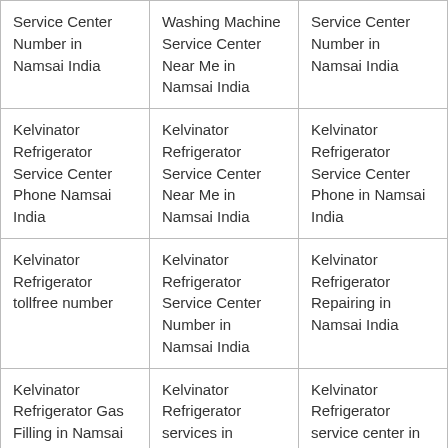| Service Center Number in Namsai India | Washing Machine Service Center Near Me in Namsai India | Service Center Number in Namsai India |
| Kelvinator Refrigerator Service Center Phone Namsai India | Kelvinator Refrigerator Service Center Near Me in Namsai India | Kelvinator Refrigerator Service Center Phone in Namsai India |
| Kelvinator Refrigerator tollfree number | Kelvinator Refrigerator Service Center Number in Namsai India | Kelvinator Refrigerator Repairing in Namsai India |
| Kelvinator Refrigerator Gas Filling in Namsai India | Kelvinator Refrigerator services in Namsai India | Kelvinator Refrigerator service center in Namsai India |
|  |  |  |